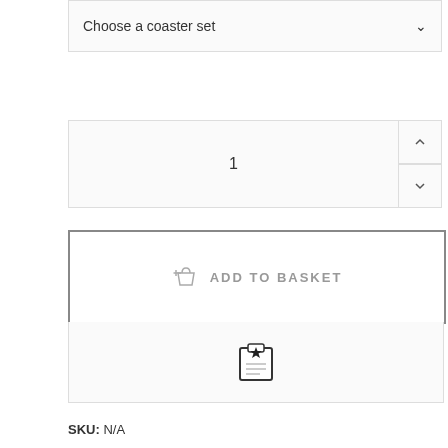Choose a coaster set
1
ADD TO BASKET
SKU: N/A
Category: Kitchen & Dining
Tags: ancient, coasters, fossil, petrified wood